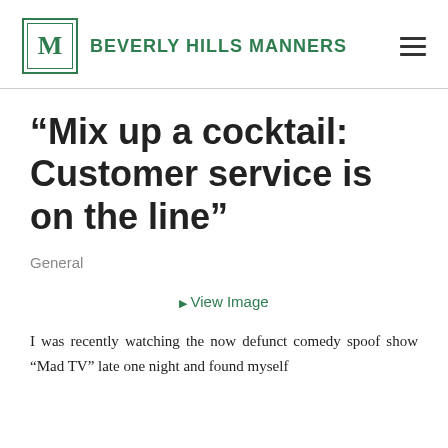BEVERLY HILLS MANNERS
“Mix up a cocktail: Customer service is on the line”
General
[Figure (other): View Image link placeholder for an article image]
I was recently watching the now defunct comedy spoof show “Mad TV” late one night and found myself